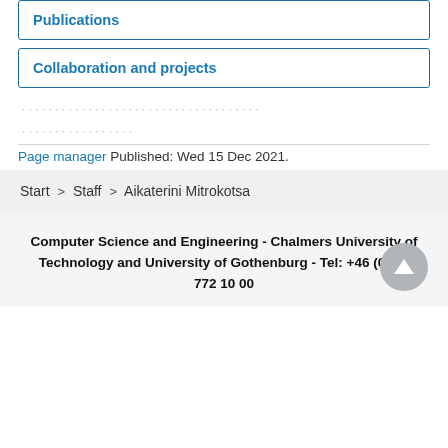Publications
Collaboration and projects
Page manager Published: Wed 15 Dec 2021.
Start > Staff > Aikaterini Mitrokotsa
Computer Science and Engineering - Chalmers University of Technology and University of Gothenburg - Tel: +46 (0)31-772 10 00